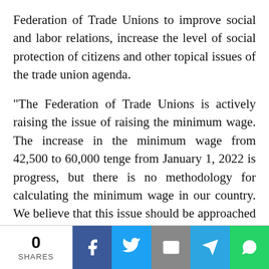Federation of Trade Unions to improve social and labor relations, increase the level of social protection of citizens and other topical issues of the trade union agenda.
“The Federation of Trade Unions is actively raising the issue of raising the minimum wage. The increase in the minimum wage from 42,500 to 60,000 tenge from January 1, 2022 is progress, but there is no methodology for calculating the minimum wage in our country. We believe that this issue should be approached based on the recommendations of the International Labour Organization. There is a
[Figure (other): Social sharing bar with share count (0 SHARES) and buttons for Facebook, Twitter, Email, Telegram, WhatsApp]